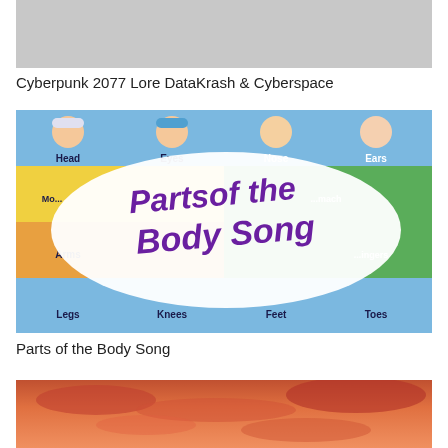[Figure (screenshot): Gray placeholder thumbnail for Cyberpunk 2077 Lore DataKrash & Cyberspace video]
Cyberpunk 2077 Lore DataKrash & Cyberspace
[Figure (screenshot): Educational children's video thumbnail showing cartoon kids with body part labels: Head, Eyes, Nose, Ears, Mouth, Stomach, Arms, Fingers, Legs, Knees, Feet, Toes. Overlaid with 'Parts of the Body Song' sticker text in purple.]
Parts of the Body Song
[Figure (photo): Sunset sky with orange and pink clouds, partially visible at bottom of page]